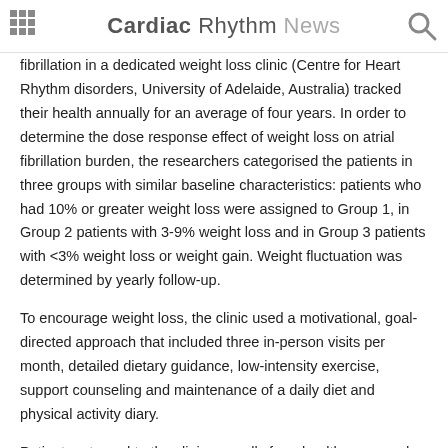Cardiac Rhythm News
fibrillation in a dedicated weight loss clinic (Centre for Heart Rhythm disorders, University of Adelaide, Australia) tracked their health annually for an average of four years. In order to determine the dose response effect of weight loss on atrial fibrillation burden, the researchers categorised the patients in three groups with similar baseline characteristics: patients who had 10% or greater weight loss were assigned to Group 1, in Group 2 patients with 3-9% weight loss and in Group 3 patients with <3% weight loss or weight gain. Weight fluctuation was determined by yearly follow-up.
To encourage weight loss, the clinic used a motivational, goal-directed approach that included three in-person visits per month, detailed dietary guidance, low-intensity exercise, support counseling and maintenance of a daily diet and physical activity diary.
Patients returned to the clinic annually for a health exam and atrial fibrillation monitoring. To assess the frequency, duration and severity of symptoms, patients completed questionnaires and wore a Holter monitor for one to two consecutive days of the week in order to determine the